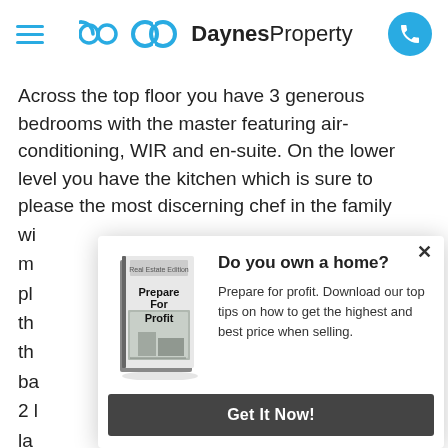DaynesProperty — hamburger menu and phone icon
Across the top floor you have 3 generous bedrooms with the master featuring air-conditioning, WIR and en-suite. On the lower level you have the kitchen which is sure to please the most discerning chef in the family wi... m... pl... th... th... ba... 2 l... la... fa... th...
[Figure (illustration): Modal popup overlay with a 'Prepare For Profit' real estate book cover illustration, a close (x) button, heading 'Do you own a home?', descriptive text, and a 'Get It Now!' button.]